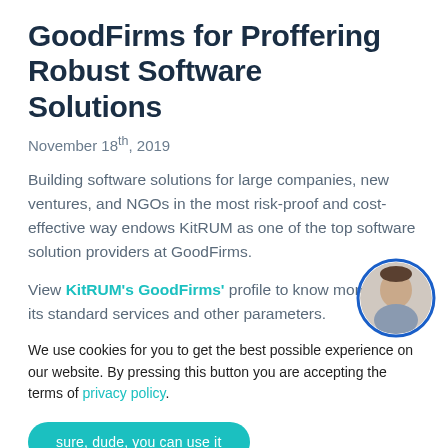GoodFirms for Proffering Robust Software Solutions
November 18th, 2019
Building software solutions for large companies, new ventures, and NGOs in the most risk-proof and cost-effective way endows KitRUM as one of the top software solution providers at GoodFirms.
View KitRUM's GoodFirms' profile to know more about its standard services and other parameters.
[Figure (photo): Circular portrait photo overlaid in the bottom-right area of the second paragraph]
We use cookies for you to get the best possible experience on our website. By pressing this button you are accepting the terms of privacy policy.
sure, dude, you can use it